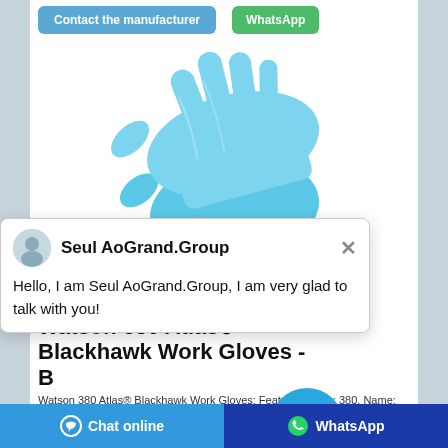[Figure (screenshot): Screenshot of a product page showing blue nitrile work gloves with a chat popup overlay from Seul AoGrand.Group, product title Watson 380 Atlas Blackhawk Work Gloves, and bottom navigation buttons for Chat online and WhatsApp.]
Contact the manufacturer
WhatsApp
Seul AoGrand.Group
Hello, I am Seul AoGrand.Group, I am very glad to talk with you!
Watson 380 Atlas® Blackhawk Work Gloves - B Fasteners & ...
Watson 380 Atlas® Blackhawk Work Gloves: Features: Style: 380. Name: Atlas® Blackhawk. Sizes: Medium, Large, X-Large. Hard-wearing nitrile coating. Lightly textured finish. Excellent abrasion and puncture resistance. Handles well in oil slick applications.
Chat online
WhatsApp